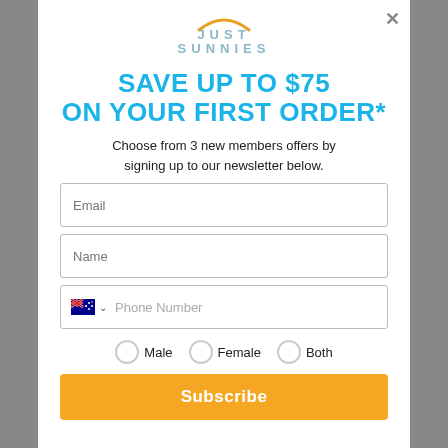[Figure (logo): Just Sunnies logo with arc graphic above text]
SAVE UP TO $75
ON YOUR FIRST ORDER*
Choose from 3 new members offers by signing up to our newsletter below.
Email (input field)
Name (input field)
Phone Number (input field with Australian flag)
Male  Female  Both (radio buttons)
Subscribe (button)